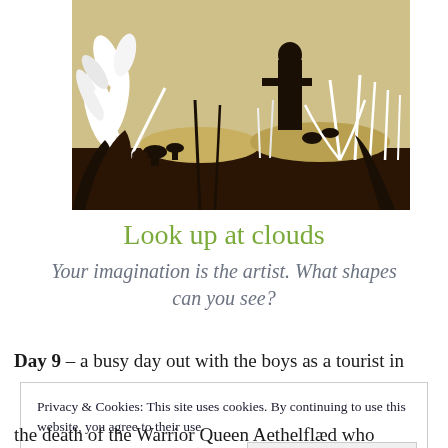[Figure (illustration): Decorative illustration showing a silhouetted figure standing in a field with plants, mushrooms, ferns, birds, and grasses in dark brown and white tones against a light tan/beige background.]
Look up at clouds
Your imagination is the artist. What shapes can you see?
Day 9 – a busy day out with the boys as a tourist in
Privacy & Cookies: This site uses cookies. By continuing to use this website, you agree to their use.
To find out more, including how to control cookies, see here: Cookie Policy
Close and accept
the death of the Warrior Queen Aethelflæd who